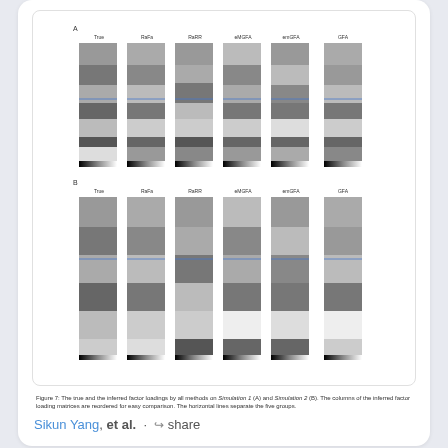[Figure (other): Scientific figure showing factor loading matrices from simulation studies, displayed as grayscale heatmap columns labeled True, RaFa, RaRR, MGFA, emGFA, GFA with horizontal lines separating groups. Two panels (A and B) with multiple vertical grayscale bar plots.]
Figure 7: The true and the inferred factor loadings by all methods on Simulation 1 (A) and Simulation 2 (B). The columns of the inferred factor loading matrices are reordered for easy comparison. The horizontal lines separate the five groups.
Sikun Yang, et al. · share
research · 4 years ago
Inverse Reinforcement Learning via Nonparametric Spatio-Temporal